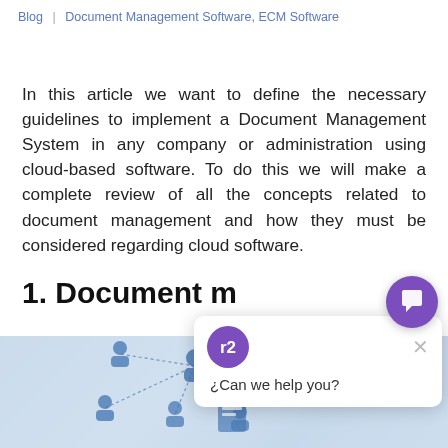Blog | Document Management Software, ECM Software
In this article we want to define the necessary guidelines to implement a Document Management System in any company or administration using cloud-based software. To do this we will make a complete review of all the concepts related to document management and how they must be considered regarding cloud software.
1. Document m
[Figure (screenshot): Chat popup with R2 logo showing '¿Can we help you?' message and close button, overlaid on the page content]
[Figure (photo): Blue-tinted photo showing network of people icons representing document management system connections, partially visible at bottom of page]